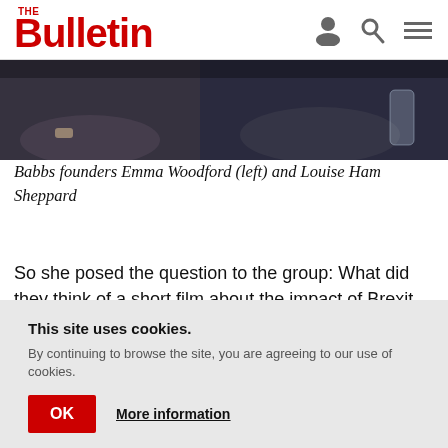The Bulletin
[Figure (photo): Partial photo of two people at a table, cropped at top of page]
Babbs founders Emma Woodford (left) and Louise Ham Sheppard
So she posed the question to the group: What did they think of a short film about the impact of Brexit on British citizens living in Belgium, the heart of the European Union?
The response was enormous: the very next day 10
This site uses cookies. By continuing to browse the site, you are agreeing to our use of cookies.